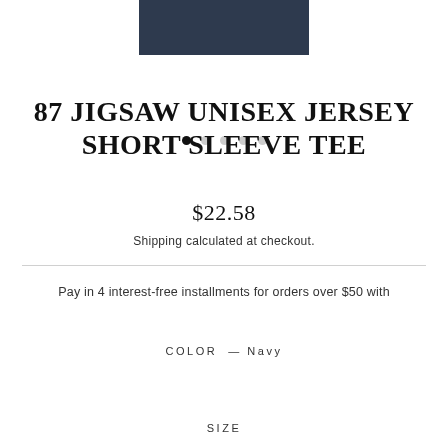[Figure (photo): Partial product image showing a folded navy/dark blue t-shirt on a white background]
87 JIGSAW UNISEX JERSEY SHORT SLEEVE TEE
$22.58
Shipping calculated at checkout.
Pay in 4 interest-free installments for orders over $50 with shopPay Learn more
COLOR — Navy
[Figure (illustration): Color swatches: Navy (selected, with outline), White, Black, White, Silver/Grey]
SIZE